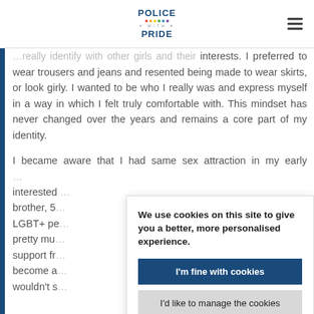POLICE WITH PRIDE
... interests. I preferred to wear trousers and jeans and resented being made to wear skirts, or look girly. I wanted to be who I really was and express myself in a way in which I felt truly comfortable with. This mindset has never changed over the years and remains a core part of my identity.

I became aware that I had same sex attraction in my early ... interested ... brother, S... LGBT+ pe... pretty mu... support fr... become a... wouldn't s...
We use cookies on this site to give you a better, more personalised experience.
I'm fine with cookies
I'd like to manage the cookies